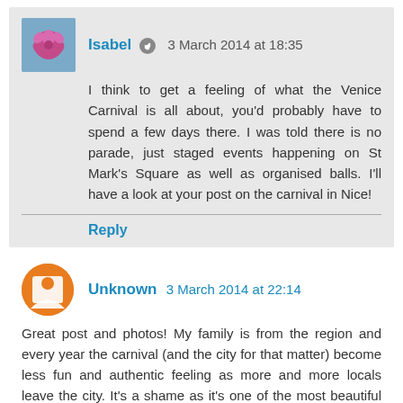Isabel — 3 March 2014 at 18:35
I think to get a feeling of what the Venice Carnival is all about, you'd probably have to spend a few days there. I was told there is no parade, just staged events happening on St Mark's Square as well as organised balls. I'll have a look at your post on the carnival in Nice!
Reply
Unknown 3 March 2014 at 22:14
Great post and photos! My family is from the region and every year the carnival (and the city for that matter) become less fun and authentic feeling as more and more locals leave the city. It's a shame as it's one of the most beautiful cities in the world and an absolute wonder to see. I've never been there during carnival, but I was there during the build-up one year, and some of the costumes are spectacular! Hopefully the city can figure out a solution and